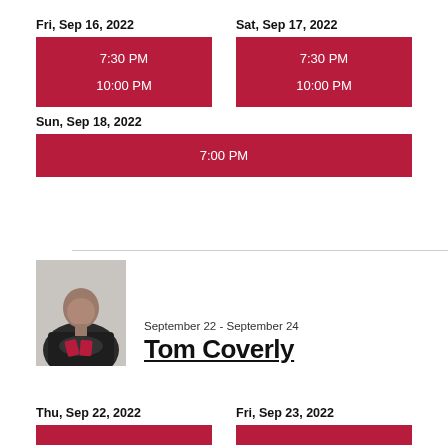Fri, Sep 16, 2022
7:30 PM
10:00 PM
Sat, Sep 17, 2022
7:30 PM
10:00 PM
Sun, Sep 18, 2022
7:00 PM
[Figure (photo): Photo of Tom Coverly, a bald man in a dark jacket holding playing cards]
September 22 - September 24
Tom Coverly
Thu, Sep 22, 2022
Fri, Sep 23, 2022